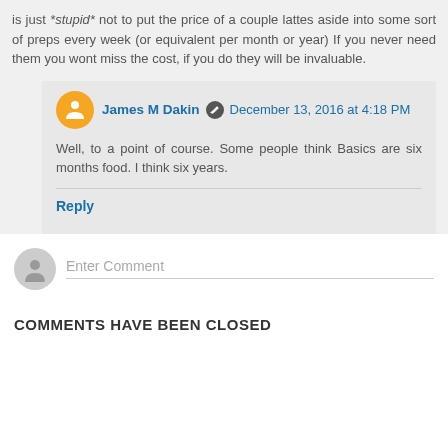is just *stupid* not to put the price of a couple lattes aside into some sort of preps every week (or equivalent per month or year) If you never need them you wont miss the cost, if you do they will be invaluable.
James M Dakin — December 13, 2016 at 4:18 PM
Well, to a point of course. Some people think Basics are six months food. I think six years.
Reply
Enter Comment
COMMENTS HAVE BEEN CLOSED